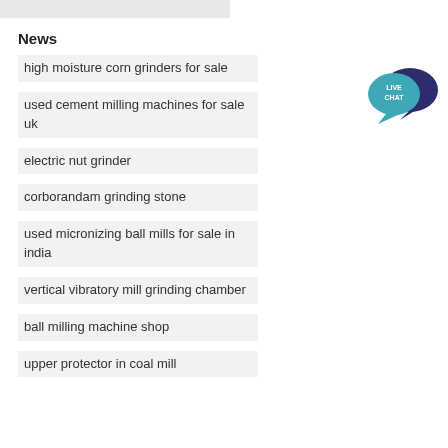News
high moisture corn grinders for sale
used cement milling machines for sale uk
electric nut grinder
corborandam grinding stone
used micronizing ball mills for sale in india
vertical vibratory mill grinding chamber
ball milling machine shop
upper protector in coal mill
[Figure (illustration): Live Chat speech bubble icon with dark navy background bubble behind a teal bubble reading LIVE CHAT in white text]